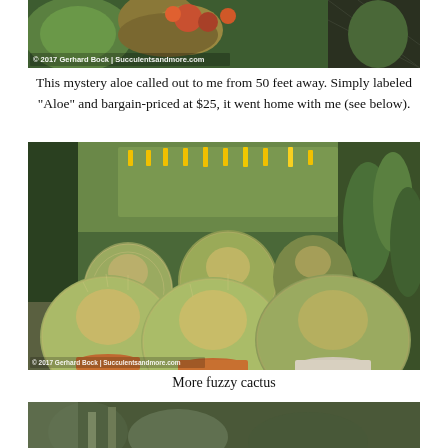[Figure (photo): Top portion of a photo showing potted plants/cacti in a nursery or garden setting with watermark '© 2017 Gerhard Bock | Succulentsandmore.com']
This mystery aloe called out to me from 50 feet away. Simply labeled "Aloe" and bargain-priced at $25, it went home with me (see below).
[Figure (photo): Multiple large round fuzzy cacti (barrel cacti with golden/white spines) in orange and white pots at a nursery, with yellow price tags visible in background. Watermark: © 2017 Gerhard Bock | Succulentsandmore.com]
More fuzzy cactus
[Figure (photo): Bottom partial photo showing more plants/cacti in a nursery setting]